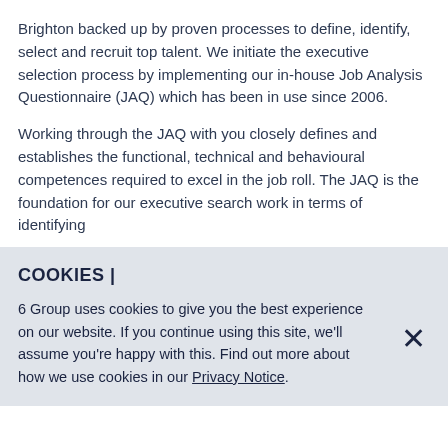Brighton backed up by proven processes to define, identify, select and recruit top talent. We initiate the executive selection process by implementing our in-house Job Analysis Questionnaire (JAQ) which has been in use since 2006.
Working through the JAQ with you closely defines and establishes the functional, technical and behavioural competences required to excel in the job roll. The JAQ is the foundation for our executive search work in terms of identifying
COOKIES |
6 Group uses cookies to give you the best experience on our website. If you continue using this site, we'll assume you're happy with this. Find out more about how we use cookies in our Privacy Notice.